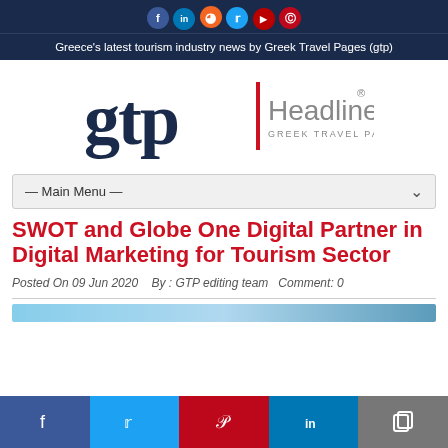Greece's latest tourism industry news by Greek Travel Pages (gtp)
[Figure (logo): GTP Headlines - Greek Travel Pages logo with red vertical bar separator]
— Main Menu —
SWOT and Globe One Digital Partner in Digital Marketing for Tourism Sector
Posted On 09 Jun 2020   By : GTP editing team   Comment: 0